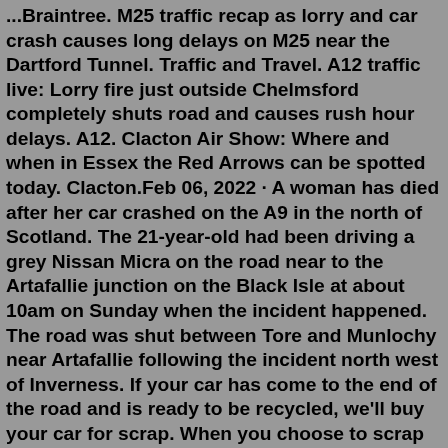...Braintree. M25 traffic recap as lorry and car crash causes long delays on M25 near the Dartford Tunnel. Traffic and Travel. A12 traffic live: Lorry fire just outside Chelmsford completely shuts road and causes rush hour delays. A12. Clacton Air Show: Where and when in Essex the Red Arrows can be spotted today. Clacton.Feb 06, 2022 · A woman has died after her car crashed on the A9 in the north of Scotland. The 21-year-old had been driving a grey Nissan Micra on the road near to the Artafallie junction on the Black Isle at about 10am on Sunday when the incident happened. The road was shut between Tore and Munlochy near Artafallie following the incident north west of Inverness. If your car has come to the end of the road and is ready to be recycled, we'll buy your car for scrap. When you choose to scrap your car with CarTakeBack, it'll be recycled in line with the law at an authorised scrap car recycling centre, we have over 300 across the UK. When your car is recycled, you'll get a DVLA Certificate of Destruction